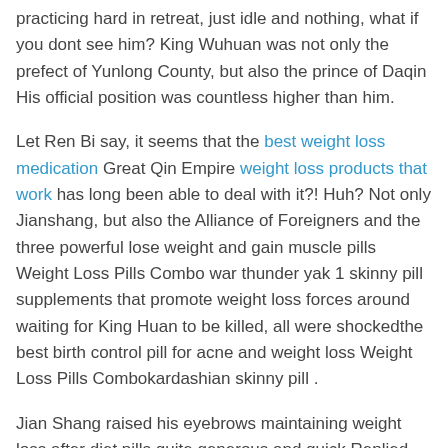practicing hard in retreat, just idle and nothing, what if you dont see him? King Wuhuan was not only the prefect of Yunlong County, but also the prince of Daqin His official position was countless higher than him.
Let Ren Bi say, it seems that the best weight loss medication Great Qin Empire weight loss products that work has long been able to deal with it?! Huh? Not only Jianshang, but also the Alliance of Foreigners and the three powerful lose weight and gain muscle pills Weight Loss Pills Combo war thunder yak 1 skinny pill supplements that promote weight loss forces around waiting for King Huan to be killed, all were shockedthe best birth control pill for acne and weight loss Weight Loss Pills Combokardashian skinny pill .
Jian Shang raised his eyebrows maintaining weight loss after diet pills quite generous and quick Replied Okay! As long as you hand over Hengpu Pass, you can get Hundred Battles Catalogue.